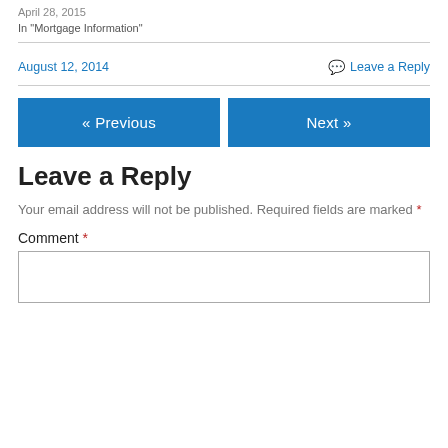April 28, 2015
In "Mortgage Information"
August 12, 2014
Leave a Reply
« Previous
Next »
Leave a Reply
Your email address will not be published. Required fields are marked *
Comment *